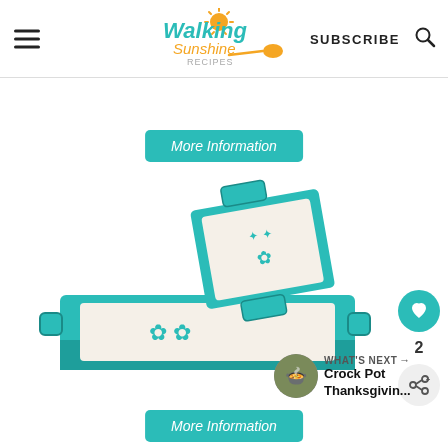Walking Sunshine Recipes — SUBSCRIBE
More Information
[Figure (photo): Three teal/turquoise ceramic baking dishes with white floral patterns, stacked and displayed together — a large rectangular baker, a medium square baker, and a small square baker, all with handles.]
2
WHAT'S NEXT → Crock Pot Thanksgivin...
More Information